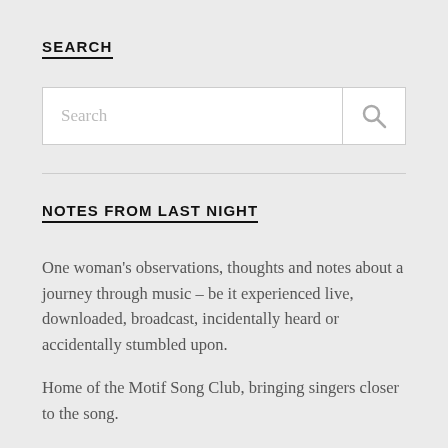SEARCH
[Figure (screenshot): Search input box with placeholder text 'Search' and a search icon button on the right]
NOTES FROM LAST NIGHT
One woman's observations, thoughts and notes about a journey through music – be it experienced live, downloaded, broadcast, incidentally heard or accidentally stumbled upon.
Home of the Motif Song Club, bringing singers closer to the song.